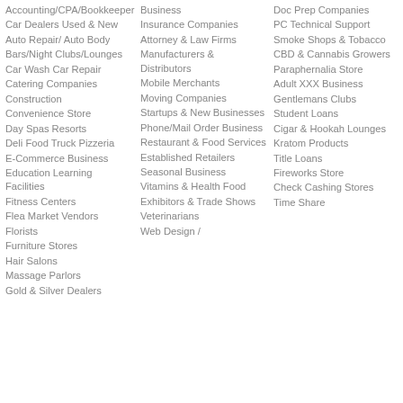Accounting/CPA/Bookkeeper
Car Dealers Used & New
Auto Repair/ Auto Body
Bars/Night Clubs/Lounges
Car Wash Car Repair
Catering Companies
Construction
Convenience Store
Day Spas Resorts
Deli Food Truck Pizzeria
E-Commerce Business
Education Learning Facilities
Fitness Centers
Flea Market Vendors
Florists
Furniture Stores
Hair Salons
Massage Parlors
Gold & Silver Dealers
Business
Insurance Companies
Attorney & Law Firms
Manufacturers & Distributors
Mobile Merchants
Moving Companies
Startups & New Businesses
Phone/Mail Order Business
Restaurant & Food Services
Established Retailers
Seasonal Business
Vitamins & Health Food
Exhibitors & Trade Shows
Veterinarians
Web Design /
Doc Prep Companies
PC Technical Support
Smoke Shops & Tobacco
CBD & Cannabis Growers
Paraphernalia Store
Adult XXX Business
Gentlemans Clubs
Student Loans
Cigar & Hookah Lounges
Kratom Products
Title Loans
Fireworks Store
Check Cashing Stores
Time Share